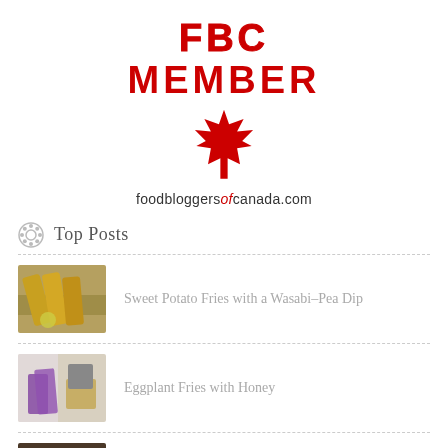[Figure (logo): FBC MEMBER badge with red maple leaf and text 'foodbloggersofcanada.com']
Top Posts
Sweet Potato Fries with a Wasabi–Pea Dip
Eggplant Fries with Honey
Asian Bone Broth Soup